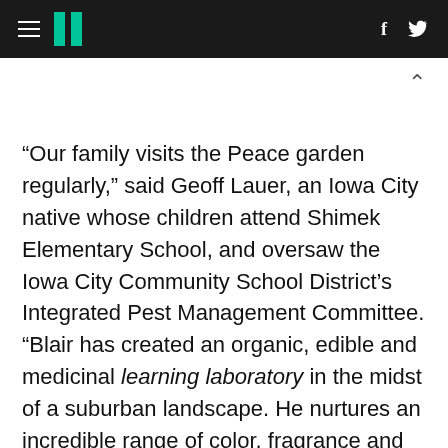HuffPost navigation header with hamburger menu, logo, Facebook and Twitter icons
“Our family visits the Peace garden regularly,” said Geoff Lauer, an Iowa City native whose children attend Shimek Elementary School, and oversaw the Iowa City Community School District’s Integrated Pest Management Committee. “Blair has created an organic, edible and medicinal learning laboratory in the midst of a suburban landscape. He nurtures an incredible range of color, fragrance and taste that is alive all year long. He does this by creating much more than an edible landscape, he has